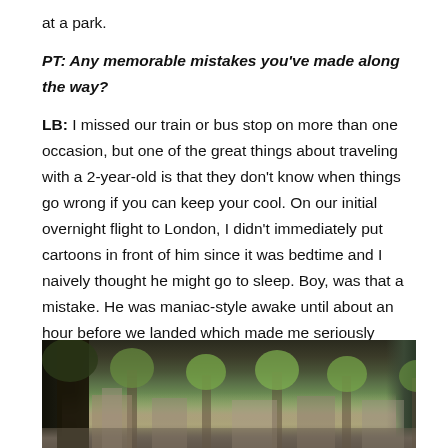at a park.
PT: Any memorable mistakes you've made along the way?
LB: I missed our train or bus stop on more than one occasion, but one of the great things about traveling with a 2-year-old is that they don't know when things go wrong if you can keep your cool. On our initial overnight flight to London, I didn't immediately put cartoons in front of him since it was bedtime and I naively thought he might go to sleep. Boy, was that a mistake. He was maniac-style awake until about an hour before we landed which made me seriously question my decision to take this crazy trip.
[Figure (photo): Outdoor street scene with trees in leaf, historic European-style buildings in the background, likely Amsterdam canal street.]